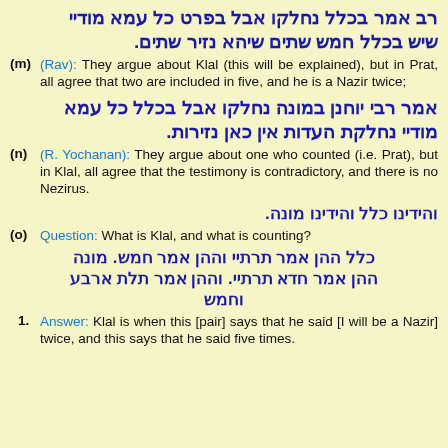רב אמר בכלל נחלקו אבל בפרט כל עמא מודיי שיש בכלל חמש שתים שיהא נזיר שתים.
(m) (Rav): They argue about Klal (this will be explained), but in Prat, all agree that two are included in five, and he is a Nazir twice;
אמר רבי יוחנן במונה נחלקו אבל בכלל כל עמא מודיי נחלקת העדות אין כאן נזירות.
(n) (R. Yochanan): They argue about one who counted (i.e. Prat), but in Klal, all agree that the testimony is contradictory, and there is no Nezirus.
והידינו כלל והידינו מונה.
(o) Question: What is Klal, and what is counting?
כלל ההן אמר תרתיי וההן אמר חמש. מונה ההן אמר חדא תרתיי. וההן אמר תלת ארבע וחמש
1. Answer: Klal is when this [pair] says that he said [I will be a Nazir] twice, and this says that he said five times.